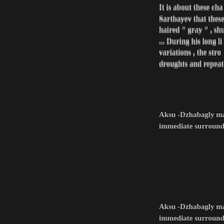It is about these cha... Sartbayev that these ... haired " gray " , shud... ... During his long li... variations , the stro... droughts and repeated...
Aksu -Dzhabagly ma... immediate surroundin...
This birch Talas - a ta... and large leaves . On... copies herbaria in the ... black- bluish leaves an... Highlands Reserve yo... and the Kazakh SSR.
Only the pass Ulken ... bluish short pubes...